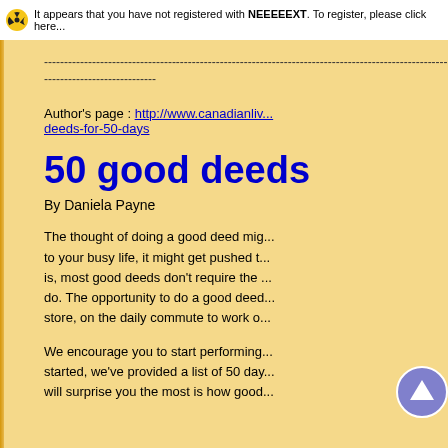It appears that you have not registered with NEEEEEXT. To register, please click here...
----------------------------------------------------------------------------------------------------------------------------
----------------------------
Author's page : http://www.canadianliv.../deeds-for-50-days
50 good deeds
By Daniela Payne
The thought of doing a good deed mig... to your busy life, it might get pushed t... is, most good deeds don't require the ... do. The opportunity to do a good deed... store, on the daily commute to work o...
We encourage you to start performing... started, we've provided a list of 50 day... will surprise you the most is how good...